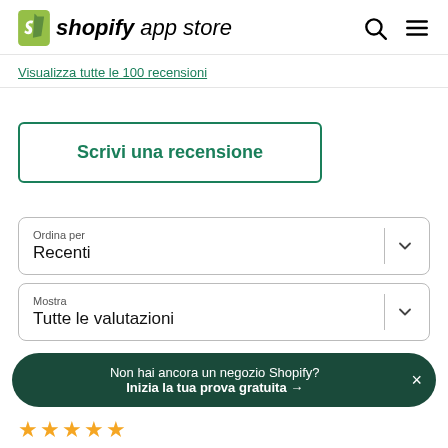shopify app store
Visualizza tutte le 100 recensioni
Scrivi una recensione
Ordina per
Recenti
Mostra
Tutte le valutazioni
Non hai ancora un negozio Shopify?
Inizia la tua prova gratuita →